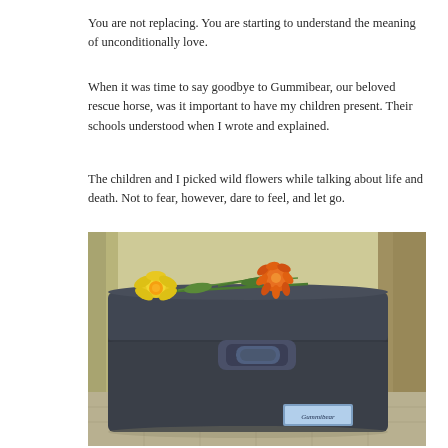You are not replacing. You are starting to understand the meaning of unconditionally love.
When it was time to say goodbye to Gummibear, our beloved rescue horse, was it important to have my children present. Their schools understood when I wrote and explained.
The children and I picked wild flowers while talking about life and death. Not to fear, however, dare to feel, and let go.
[Figure (photo): A dark plastic storage box/container with a latch, sitting on a tiled floor against a beige/yellow wall with fabric hanging in the background. On top of the container are wild flowers — a yellow flower and an orange marigold with green stems. A label on the front reads 'Gummibear'.]